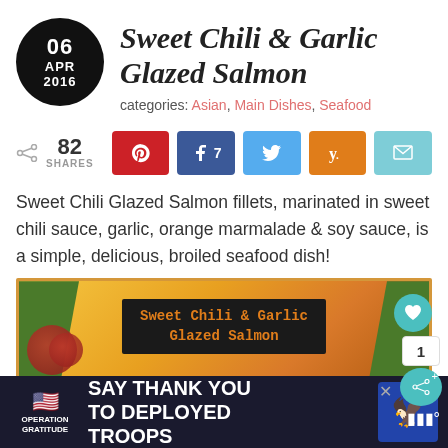Sweet Chili & Garlic Glazed Salmon
categories: Asian, Main Dishes, Seafood
[Figure (other): Social share bar showing 82 shares with Pinterest, Facebook (7), Twitter, Yummly, and Email buttons]
Sweet Chili Glazed Salmon fillets, marinated in sweet chili sauce, garlic, orange marmalade & soy sauce, is a simple, delicious, broiled seafood dish!
[Figure (photo): Partial food photo showing Sweet Chili & Garlic Glazed Salmon dish with green ribbon decoration and orange background, with title banner overlay]
[Figure (other): Advertisement banner for Operation Gratitude: SAY THANK YOU TO DEPLOYED TROOPS]